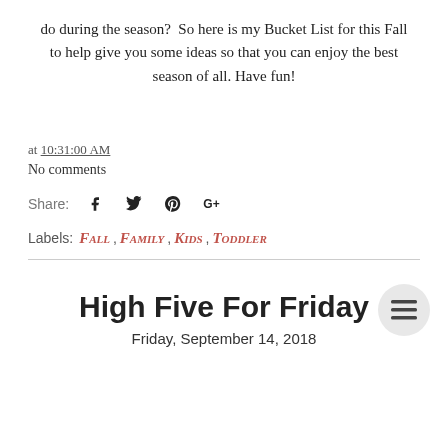do during the season? So here is my Bucket List for this Fall to help give you some ideas so that you can enjoy the best season of all. Have fun!
at 10:31:00 AM
No comments
Share:
Labels: Fall, Family, Kids, Toddler
High Five For Friday
Friday, September 14, 2018